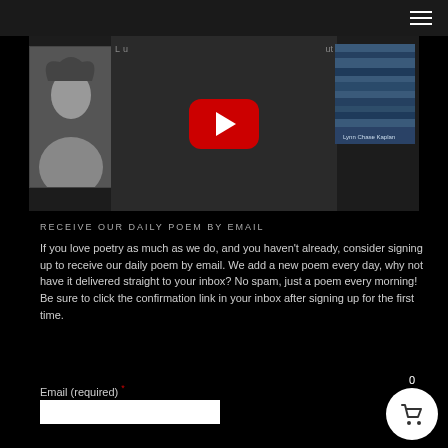[Figure (screenshot): Website header with dark top navigation bar containing hamburger menu icon on the right]
[Figure (screenshot): YouTube video thumbnail showing a black-and-white portrait photo on the left, a YouTube play button in the center on dark background, and a blue-toned book cover image on the right]
RECEIVE OUR DAILY POEM BY EMAIL
If you love poetry as much as we do, and you haven't already, consider signing up to receive our daily poem by email. We add a new poem every day, why not have it delivered straight to your inbox? No spam, just a poem every morning! Be sure to click the confirmation link in your inbox after signing up for the first time.
Email (required) *
[Figure (screenshot): Shopping cart icon (basket) in a white circle with the number 0 above it, positioned in the bottom-right corner]